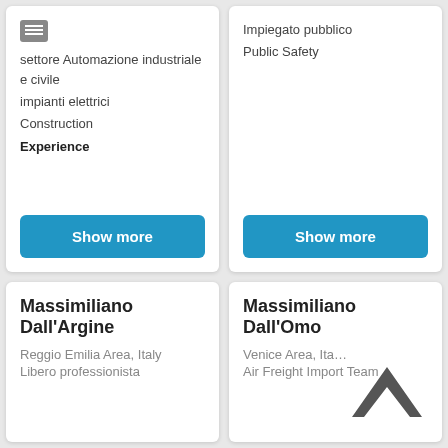settore Automazione industriale e civile
impianti elettrici
Construction
Experience
Show more
Impiegato pubblico
Public Safety
Show more
Massimiliano Dall'Argine
Reggio Emilia Area, Italy
Libero professionista
Massimiliano Dall'Omo
Venice Area, Ita…
Air Freight Import Team